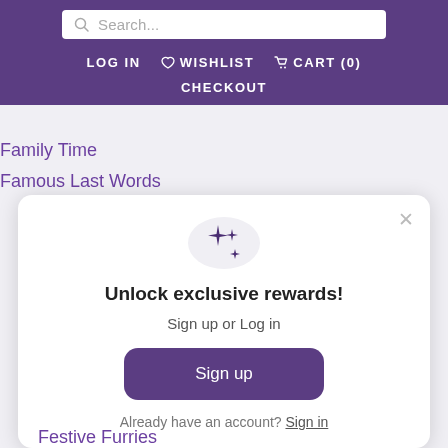Search... LOG IN WISHLIST CART (0) CHECKOUT
Family Time
Famous Last Words
[Figure (screenshot): Modal popup with sparkle icon, title 'Unlock exclusive rewards!', subtitle 'Sign up or Log in', a Sign up button, and 'Already have an account? Sign in' link.]
Festive Furries